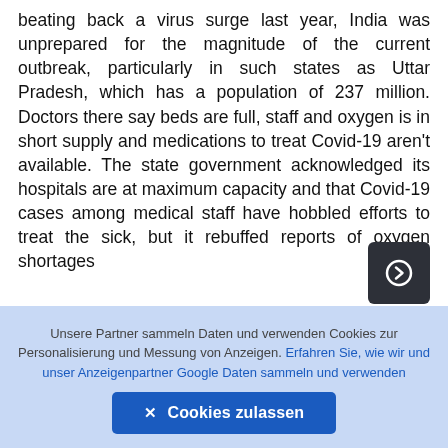beating back a virus surge last year, India was unprepared for the magnitude of the current outbreak, particularly in such states as Uttar Pradesh, which has a population of 237 million. Doctors there say beds are full, staff and oxygen is in short supply and medications to treat Covid-19 aren't available. The state government acknowledged its hospitals are at maximum capacity and that Covid-19 cases among medical staff have hobbled efforts to treat the sick, but it rebuffed reports of oxygen shortages
ARIEL SCHALIT/ASSOCIATED PRESS
Israel Grants Children Access to Vaccine Passes
Unsere Partner sammeln Daten und verwenden Cookies zur Personalisierung und Messung von Anzeigen. Erfahren Sie, wie wir und unser Anzeigenpartner Google Daten sammeln und verwenden